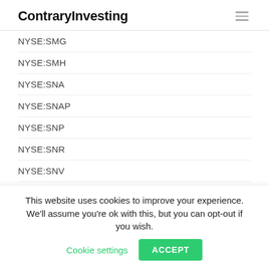ContraryInvesting
NYSE:SMG
NYSE:SMH
NYSE:SNA
NYSE:SNAP
NYSE:SNP
NYSE:SNR
NYSE:SNV
NYSE:SNX
Nyse:so
This website uses cookies to improve your experience. We'll assume you're ok with this, but you can opt-out if you wish. Cookie settings ACCEPT